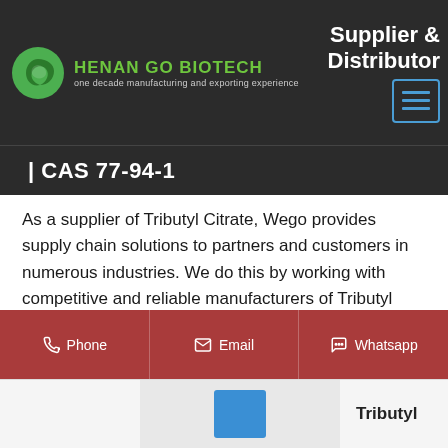HENAN GO BIOTECH — one decade manufacturing and exporting experience — Supplier & Distributor
| CAS 77-94-1
As a supplier of Tributyl Citrate, Wego provides supply chain solutions to partners and customers in numerous industries. We do this by working with competitive and reliable manufacturers of Tributyl Citrate. Wego supplies Tributyl Citrate to users/customers for Adhesives & Sealants, Plastic, Resin & Rubber, Solvents & Degreasers.
Phone | Email | Whatsapp
Tributyl